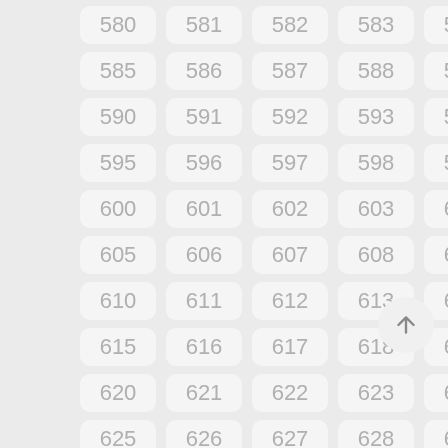[Figure (infographic): A grid of numbered cells (580–634) arranged in 5 columns and 11 rows on a light grey background, with an 'up' arrow button in the lower right area]
580, 581, 582, 583, 584, 585, 586, 587, 588, 589, 590, 591, 592, 593, 594, 595, 596, 597, 598, 599, 600, 601, 602, 603, 604, 605, 606, 607, 608, 609, 610, 611, 612, 613, 614, 615, 616, 617, 618, 619, 620, 621, 622, 623, 624, 625, 626, 627, 628, 629, 630, 631, 632, 633, 634